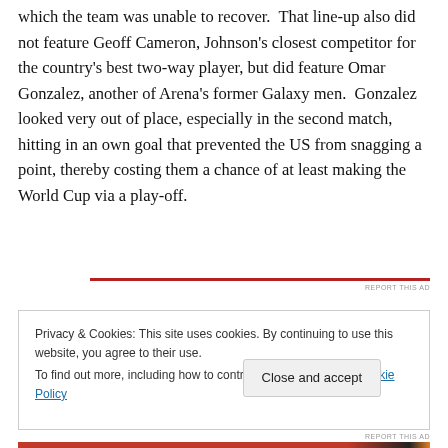which the team was unable to recover.  That line-up also did not feature Geoff Cameron, Johnson's closest competitor for the country's best two-way player, but did feature Omar Gonzalez, another of Arena's former Galaxy men.  Gonzalez looked very out of place, especially in the second match, hitting in an own goal that prevented the US from snagging a point, thereby costing them a chance of at least making the World Cup via a play-off.
Privacy & Cookies: This site uses cookies. By continuing to use this website, you agree to their use.
To find out more, including how to control cookies, see here: Cookie Policy